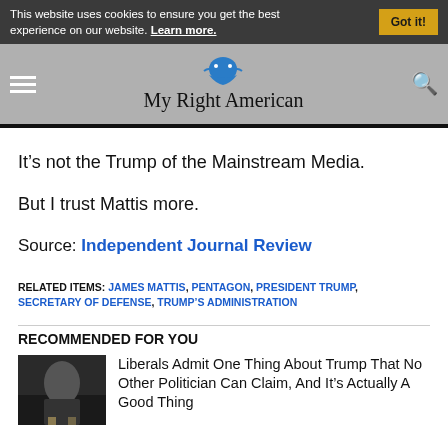This website uses cookies to ensure you get the best experience on our website. Learn more. Got it!
[Figure (logo): My Right American website logo with blue eagle icon and site name text]
It’s not the Trump of the Mainstream Media.
But I trust Mattis more.
Source: Independent Journal Review
RELATED ITEMS: JAMES MATTIS, PENTAGON, PRESIDENT TRUMP, SECRETARY OF DEFENSE, TRUMP’S ADMINISTRATION
RECOMMENDED FOR YOU
Liberals Admit One Thing About Trump That No Other Politician Can Claim, And It’s Actually A Good Thing